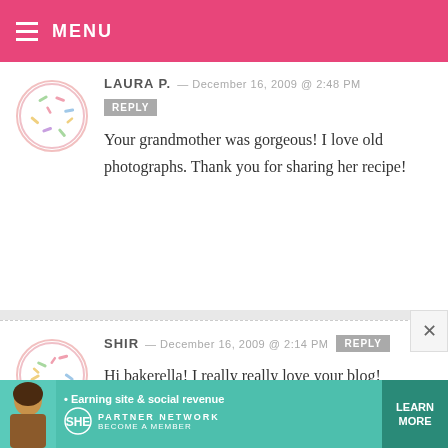MENU
LAURA P. — DECEMBER 16, 2009 @ 2:48 PM
Your grandmother was gorgeous! I love old photographs. Thank you for sharing her recipe!
SHIR — DECEMBER 16, 2009 @ 2:14 PM
Hi bakerella! I really really love your blog!
You're very creative and have awsome ideas!
[Figure (infographic): Advertisement banner for SHE Media Partner Network with person photo and Learn More button]